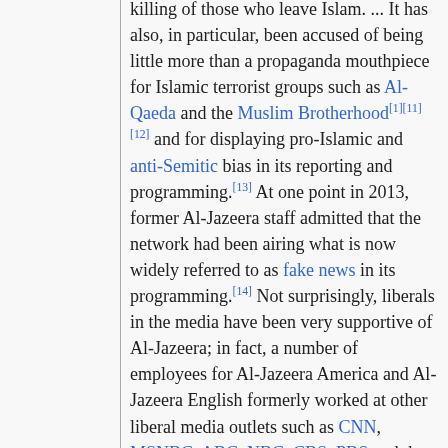killing of those who leave Islam. ... It has also, in particular, been accused of being little more than a propaganda mouthpiece for Islamic terrorist groups such as Al-Qaeda and the Muslim Brotherhood[1][11][12] and for displaying pro-Islamic and anti-Semitic bias in its reporting and programming.[13] At one point in 2013, former Al-Jazeera staff admitted that the network had been airing what is now widely referred to as fake news in its programming.[14] Not surprisingly, liberals in the media have been very supportive of Al-Jazeera; in fact, a number of employees for Al-Jazeera America and Al-Jazeera English formerly worked at other liberal media outlets such as CNN, MSNBC, ABC, NBC, CBS, PBS and the BBC.[15] The outlet has ironically accused the conservative Rebel News of being "fake